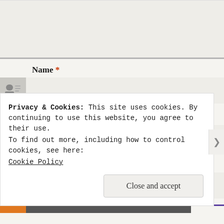[Figure (screenshot): Top grey area representing a comment textarea region, partially visible]
Name *
[Figure (screenshot): Name input field with person/card icon on left, grey input area on right]
Email *
[Figure (screenshot): Email input field with envelope icon on left, grey input area on right]
Website
[Figure (screenshot): Website input field with link icon on left, grey input area on right]
[Figure (screenshot): POST COMMENT button with orange icon on left and dark grey button with bold text]
Privacy & Cookies: This site uses cookies. By continuing to use this website, you agree to their use.
To find out more, including how to control cookies, see here:
Cookie Policy
Close and accept